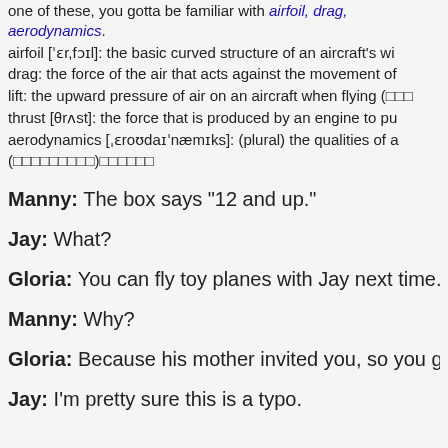one of these, you gotta be familiar with airfoil, drag, aerodynamics.
airfoil ['ɛr,fɔɪl]: the basic curved structure of an aircraft's wi...
drag: the force of the air that acts against the movement of...
lift: the upward pressure of air on an aircraft when flying (□□□...
thrust [θrʌst]: the force that is produced by an engine to pu...
aerodynamics [ˌɛroʊdaɪ'næmɪks]: (plural) the qualities of a... (□□□□□□□□□)□□□□□□
Manny: The box says "12 and up."
Jay: What?
Gloria: You can fly toy planes with Jay next time. To...
Manny: Why?
Gloria: Because his mother invited you, so you go.
Jay: I'm pretty sure this is a typo.
Gloria: Men need their hobbies. Manny's father had... skiing that they drop you from the... How do you sa...